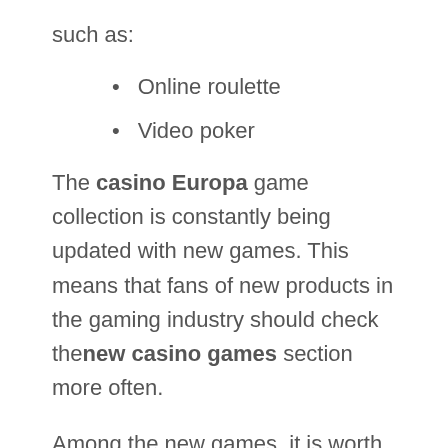such as:
Online roulette
Video poker
The casino Europa game collection is constantly being updated with new games. This means that fans of new products in the gaming industry should check the new casino games section more often.
Among the new games, it is worth paying attention to the fifty payline slots Iron Man 2, Incredible Hulk, as well as a mini-lottery with scratch cards, the most famous and popular